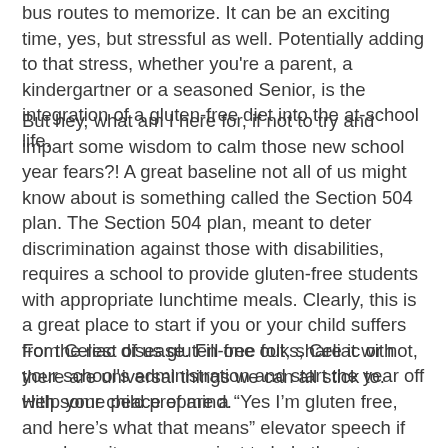bus routes to memorize. It can be an exciting time, yes, but stressful as well. Potentially adding to that stress, whether you're a parent, a kindergartner or a seasoned Senior, is the integration of a gluten-free diet into the at-school life.
But hey, what am I here for, if not to try and impart some wisdom to calm those new school year fears?! A great baseline not all of us might know about is something called the Section 504 plan. The Section 504 plan, meant to deter discrimination against those with disabilities, requires a school to provide gluten-free students with appropriate lunchtime meals. Clearly, this is a great place to start if you or your child suffers from Celiac disease. Fill one out, share it with your school's administration and start the year off with some peace of mind.
For the rest of us gluten-free folks, Celiac or not, there are universal things we can all stick to. Help your child prepare a “Yes I’m gluten free, and here’s what that means” elevator speech if you deem it necessary, just to help thwart some awkwardness that’s sure to arise. Making sure before they leave your care for the schoolyard that they have a good